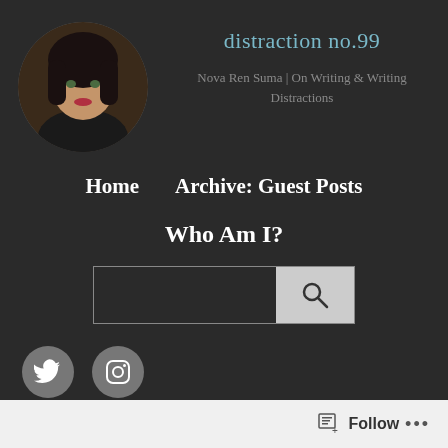[Figure (photo): Circular profile photo of a woman with dark hair and red lips, wearing black, against a dark background]
distraction no.99
Nova Ren Suma | On Writing & Writing Distractions
Home    Archive: Guest Posts
Who Am I?
[Figure (screenshot): Search box with input field and a search icon button on the right]
[Figure (logo): Twitter and Instagram social media icons as circular grey buttons]
Not an Author Newsletter, something else...
Follow  ...